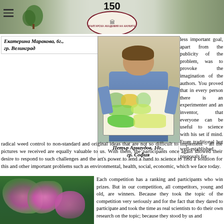150 / Bulgarian Academy of Sciences logo header
Екатерина Мараковa, 6г., гр. Велинград
[Figure (photo): Boy holding a colorful drawing/artwork]
Петър Арнаудов, 10г., гр. София
less important goal, apart from the publicity of the problem, was to provoke the imagination of the authors. You proved that in every person there is an experimenter and an inventor, that everyone can be useful to science with his set if mind. From traditional but well-established proposals for radical weed control to non-standard and original ideas that are not so difficult to implement – all the pictures we received are equally valuable to us. With them, the participants once again showed their desire to respond to such challenges and the art's power to lend a hand to science to find a solution for this and other important problems such as environmental, health, social, economic, which we face today.
[Figure (photo): Painting of flowers (pink/magenta blooms with green leaves)]
Each competition has a ranking and participants who win prizes. But in our competition, all competitors, young and old, are winners. Because they took the topic of the competition very seriously and for the fact that they dared to participate and took the time as real scientists to do their own research on the topic; because they stood by us and